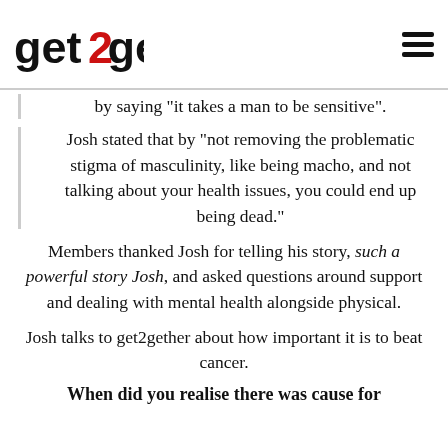get2gether
by saying “it takes a man to be sensitive”.
Josh stated that by “not removing the problematic stigma of masculinity, like being macho, and not talking about your health issues, you could end up being dead.”
Members thanked Josh for telling his story, such a powerful story Josh, and asked questions around support and dealing with mental health alongside physical.
Josh talks to get2gether about how important it is to beat cancer.
When did you realise there was cause for